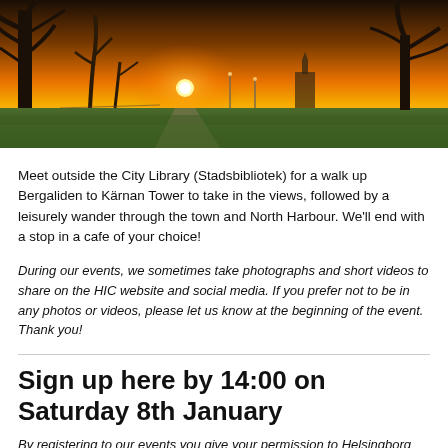[Figure (photo): Panoramic sunset photo of a park with bare trees, golden light, green grass, and a town with a tower visible in the background.]
Meet outside the City Library (Stadsbibliotek) for a walk up Bergaliden to Kärnan Tower to take in the views, followed by a leisurely wander through the town and North Harbour. We'll end with a stop in a cafe of your choice!
During our events, we sometimes take photographs and short videos to share on the HIC website and social media. If you prefer not to be in any photos or videos, please let us know at the beginning of the event. Thank you!
Sign up here by 14:00 on Saturday 8th January
By registering to our events you give your permission to Helsingborg International Connections (HIC), according to the General Data Protection Regulation (GDPR),